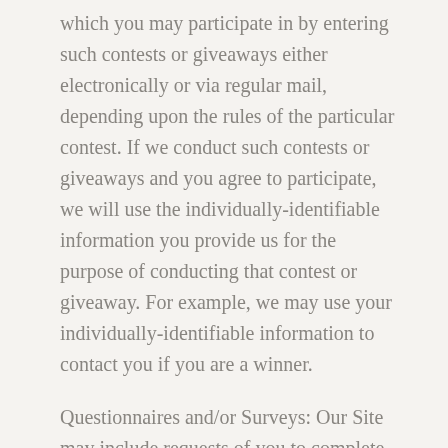which you may participate in by entering such contests or giveaways either electronically or via regular mail, depending upon the rules of the particular contest. If we conduct such contests or giveaways and you agree to participate, we will use the individually-identifiable information you provide us for the purpose of conducting that contest or giveaway. For example, we may use your individually-identifiable information to contact you if you are a winner.
Questionnaires and/or Surveys: Our Site may include requests of you to complete questionnaires and/or surveys giving your opinion or attitudes on particular areas of interest to Ruiz Foods. We will use the results of these surveys and/or questionnaires to better understand your needs and the needs of other visitors to our Site. If you agree to participate in